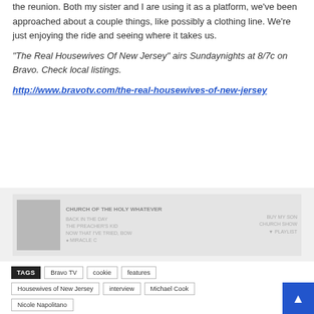the reunion. Both my sister and I are using it as a platform, we've been approached about a couple things, like possibly a clothing line. We're just enjoying the ride and seeing where it takes us.
"The Real Housewives Of New Jersey" airs Sundaynights at 8/7c on Bravo. Check local listings.
http://www.bravotv.com/the-real-housewives-of-new-jersey
[Figure (other): Advertisement or related content block with image and text]
TAGS  Bravo TV  cookie  features  Housewives of New Jersey  interview  Michael Cook  Nicole Napolitano